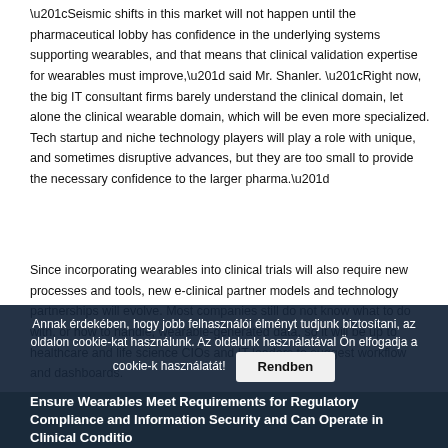“Seismic shifts in this market will not happen until the pharmaceutical lobby has confidence in the underlying systems supporting wearables, and that means that clinical validation expertise for wearables must improve,” said Mr. Shanler. “Right now, the big IT consultant firms barely understand the clinical domain, let alone the clinical wearable domain, which will be even more specialized. Tech startup and niche technology players will play a role with unique, and sometimes disruptive advances, but they are too small to provide the necessary confidence to the larger pharma.”
Since incorporating wearables into clinical trials will also require new processes and tools, new e-clinical partner models and technology partnerships will evolve. Most companies still do not know what to do with, or how to handle, wearable-generated data, so it will be up to healthcare and life science CIOs and IT leaders to suggest workflow and dashboards.
Annak érdekében, hogy jobb felhasználói élményt tudjunk biztosítani, az oldalon cookie-kat használunk. Az oldalunk használatával Ön elfogadja a cookie-k használatát!
Ensure Wearables Meet Requirements for Regulatory Compliance and Information Security and Can Operate in Clinical Conditions